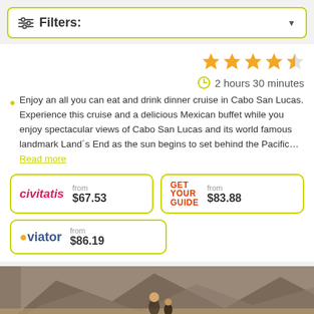Filters:
[Figure (screenshot): Star rating showing 4.5 out of 5 stars in orange]
2 hours 30 minutes
Enjoy an all you can eat and drink dinner cruise in Cabo San Lucas. Experience this cruise and a delicious Mexican buffet while you enjoy spectacular views of Cabo San Lucas and its world famous landmark Land´s End as the sun begins to set behind the Pacific… Read more
| Provider | From | Price |
| --- | --- | --- |
| civitatis | from | $67.53 |
| GET YOUR GUIDE | from | $83.88 |
| viator | from | $86.19 |
[Figure (photo): Photo of people near rocky landscape in Cabo San Lucas]